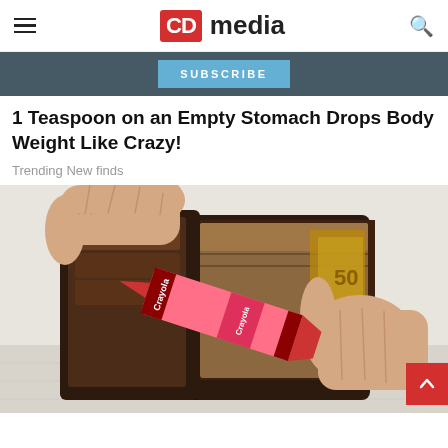CD media
SUBSCRIBE
1 Teaspoon on an Empty Stomach Drops Body Weight Like Crazy!
Trending New finds
[Figure (photo): Two hands opening a dark leather wallet, with a pink Crayola crayon inside along with Euro banknotes, on a white background.]